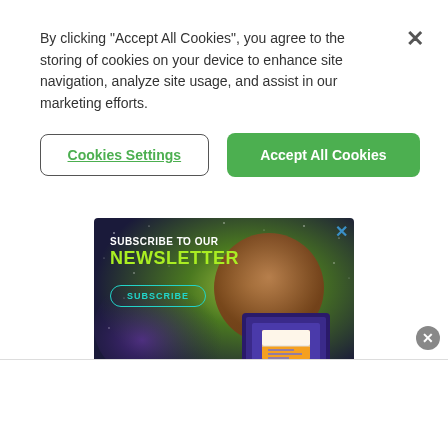By clicking “Accept All Cookies”, you agree to the storing of cookies on your device to enhance site navigation, analyze site usage, and assist in our marketing efforts.
Cookies Settings
Accept All Cookies
[Figure (illustration): Advertisement banner with space/galaxy background showing 'SUBSCRIBE TO OUR NEWSLETTER' text with a subscribe button and an illustration of a laptop with an email/envelope.]